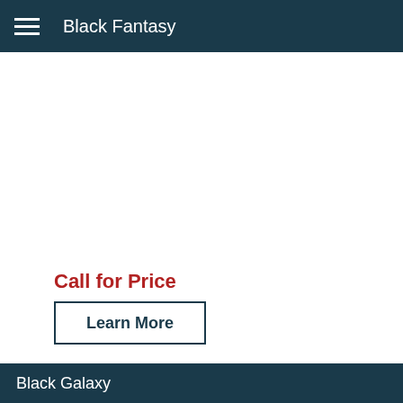Black Fantasy
Call for Price
Learn More
Black Galaxy